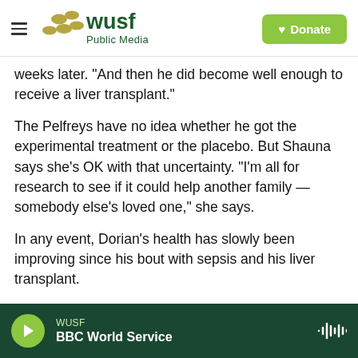WUSF Public Media — Donate
weeks later. "And then he did become well enough to receive a liver transplant."
The Pelfreys have no idea whether he got the experimental treatment or the placebo. But Shauna says she's OK with that uncertainty. "I'm all for research to see if it could help another family — somebody else's loved one," she says.
In any event, Dorian's health has slowly been improving since his bout with sepsis and his liver transplant.
WUSF — BBC World Service